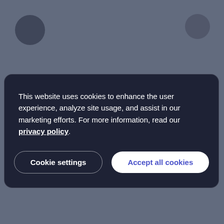[Figure (screenshot): Blurred website background with dark overlay and two dark circular elements visible in top corners]
This website uses cookies to enhance the user experience, analyze site usage, and assist in our marketing efforts. For more information, read our privacy policy.